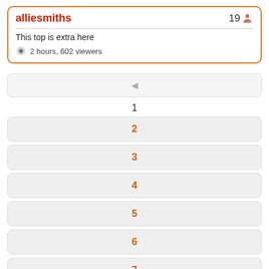alliesmiths
19
This top is extra here
2 hours, 602 viewers
1
2
3
4
5
6
7
8